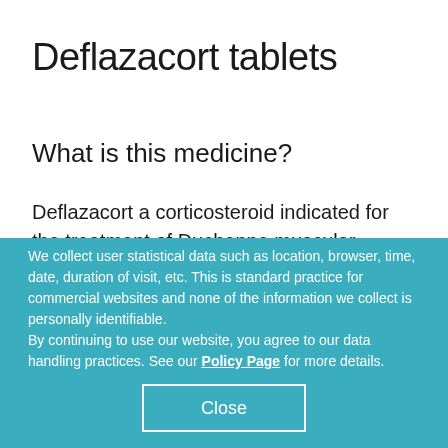Deflazacort tablets
What is this medicine?
Deflazacort a corticosteroid indicated for the treatment of Duchenne muscular dystrophy (DMD) in patients 5 years of age and older.
What should I tell my health care providers before I take this medicine?
We collect user statistical data such as location, browser, time, date, duration of visit, etc. This is standard practice for commercial websites and none of the information we collect is personally identifiable. By continuing to use our website, you agree to our data handling practices. See our Policy Page for more details.
Close